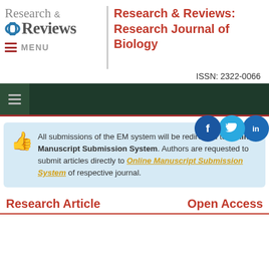[Figure (logo): Research & Reviews journal logo with circular icon]
Research & Reviews: Research Journal of Biology
ISSN: 2322-0066
[Figure (screenshot): Dark green navigation bar with hamburger menu icon]
All submissions of the EM system will be redirected to Online Manuscript Submission System. Authors are requested to submit articles directly to Online Manuscript Submission System of respective journal.
Research Article
Open Access